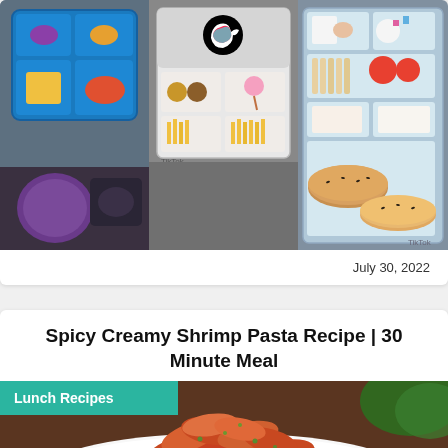[Figure (photo): Three bento lunch box photos arranged side by side: left shows a colorful bento box with a purple thermos, center shows a white bento box with fries and TikTok logo, right shows a blue/grey bento box with breadstick-like snacks and decorated rice cakes.]
July 30, 2022
Spicy Creamy Shrimp Pasta Recipe | 30 Minute Meal
[Figure (photo): A white plate piled with cooked shrimp seasoned with herbs and spices, with a green plant visible in the background. A teal 'Lunch Recipes' label badge appears in the top-left corner.]